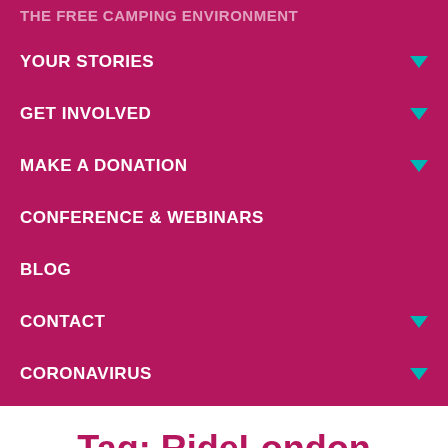YOUR STORIES
GET INVOLVED
MAKE A DONATION
CONFERENCE & WEBINARS
BLOG
CONTACT
CORONAVIRUS
Tag: RideLondon